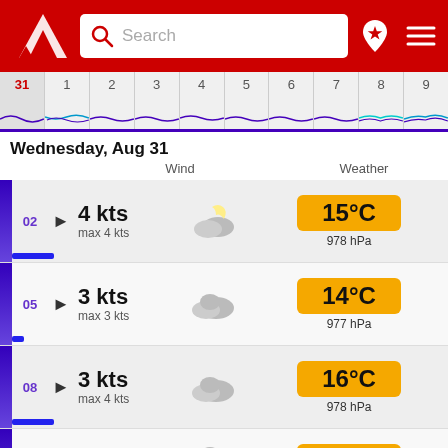[Figure (screenshot): Weather app header with red background, Windfinder logo (white triangle/arrow icon), search bar with magnifying glass icon and 'Search' placeholder, red location pin icon with star, and hamburger menu icon]
[Figure (infographic): Horizontal date strip showing days 31, 1, 2, 3, 4, 5, 6, 7, 8, 9 with 31 highlighted in red, wave/wind graph at bottom with blue and purple lines, bottom edge is solid purple/blue]
Wednesday, Aug 31
Wind    Weather
| Time | Wind Speed | Max Wind | Icon | Temperature | Pressure |
| --- | --- | --- | --- | --- | --- |
| 02 | 4 kts | max 4 kts | partly cloudy night | 15°C | 978 hPa |
| 05 | 3 kts | max 3 kts | cloudy | 14°C | 977 hPa |
| 08 | 3 kts | max 4 kts | cloudy | 16°C | 978 hPa |
| 11 | 3 kts | max 3 kts | cloudy/rain 0.6 mm | 18°C | 978 hPa |